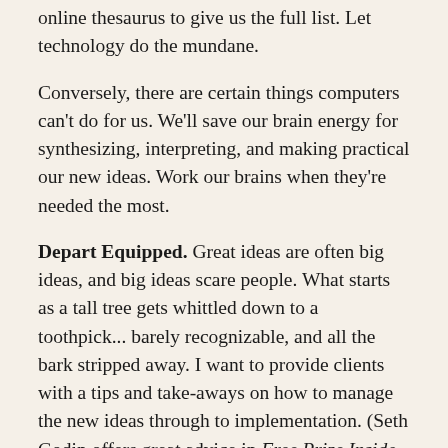online thesaurus to give us the full list. Let technology do the mundane.
Conversely, there are certain things computers can't do for us. We'll save our brain energy for synthesizing, interpreting, and making practical our new ideas. Work our brains when they're needed the most.
Depart Equipped. Great ideas are often big ideas, and big ideas scare people. What starts as a tall tree gets whittled down to a toothpick... barely recognizable, and all the bark stripped away. I want to provide clients with a tips and take-aways on how to manage the new ideas through to implementation. (Seth Godin offers great advice in Free Prize Inside on how to be a champion...